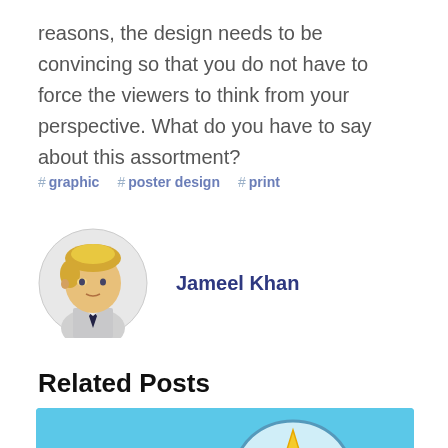reasons, the design needs to be convincing so that you do not have to force the viewers to think from your perspective. What do you have to say about this assortment?
# graphic  # poster design  # print
Jameel Khan
Related Posts
[Figure (illustration): Light blue background with a star rating icon in a speech bubble and a thumbs up hand illustration]